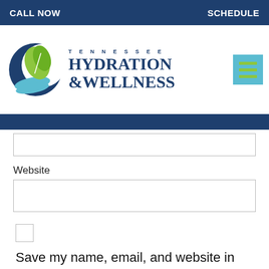CALL NOW    SCHEDULE
[Figure (logo): Tennessee Hydration & Wellness logo with crescent moon and leaf icon in blue and green]
Website
Save my name, email, and website in this browser for the next time I comment.